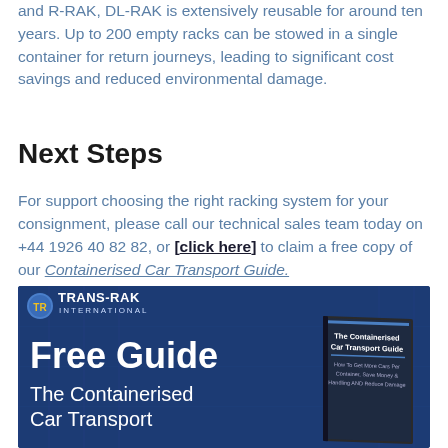and R-RAK, DL-RAK is extensively reusable for around ten years. Up to 200 empty racks can be stowed in a single container for return journeys, leading to significant cost savings and reduced environmental damage.
Next Steps
For support choosing the right racking system for your consignment, please call our technical sales team today on +44 1926 40 82 82, or [click here] to claim a free copy of our Containerised Car Transport Guide.
[Figure (illustration): Trans-Rak International promotional banner for a free guide titled 'The Containerised Car Transport' with logo and book image on blue background]